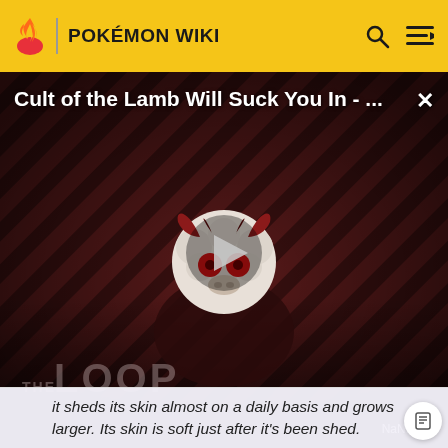POKÉMON WIKI
[Figure (screenshot): Video thumbnail for 'Cult of the Lamb Will Suck You In - ...' with a stylized lamb character with red eyes on a dark diagonal striped background. A play button triangle is centered. 'THE LOOP' watermark visible. NaN:NaN timer shown bottom right.]
it sheds its skin almost on a daily basis and grows larger. Its skin is soft just after it's been shed.
Don't like the ads? Then create an account! Users with accounts will only see ads on the Main Page and have more options than anonymous users.